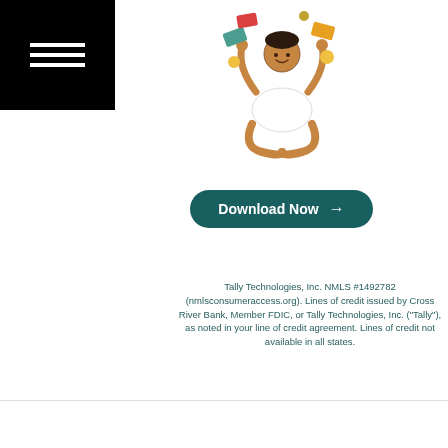[Figure (illustration): Person sitting cross-legged meditating with credit cards and coins juggling around them, Tally app advertisement illustration]
[Figure (other): Green rounded button with text 'Download Now' and right arrow]
Tally Technologies, Inc. NMLS #1492782 (nmlsconsumeraccess.org). Lines of credit issued by Cross River Bank, Member FDIC, or Tally Technologies, Inc. ("Tally"), as noted in your line of credit agreement. Lines of credit not available in all states.